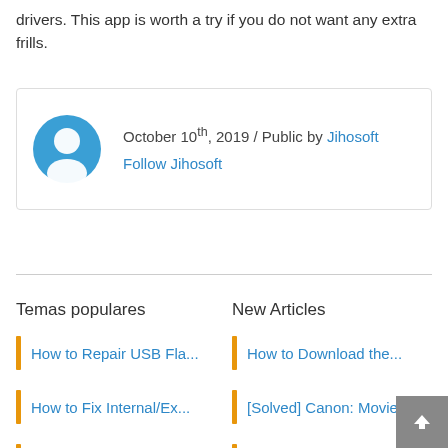drivers. This app is worth a try if you do not want any extra frills.
October 10th, 2019 / Public by Jihosoft
Follow Jihosoft
Temas populares
New Articles
How to Repair USB Fla...
How to Download the...
How to Fix Internal/Ex...
[Solved] Canon: Movie...
How to Fix Headphon...
How to Extract Subtitl...